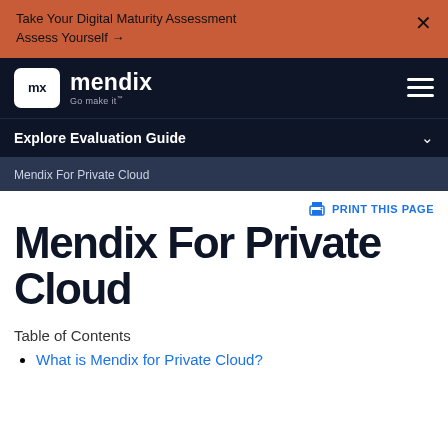Take Your Digital Maturity Assessment
Assess Yourself →   ×
[Figure (logo): Mendix logo with 'mx' in white box and 'mendix Go make it' text on dark navy background, with hamburger menu icon on right]
Explore Evaluation Guide
Mendix For Private Cloud
PRINT THIS PAGE
Mendix For Private Cloud
Table of Contents
What is Mendix for Private Cloud?